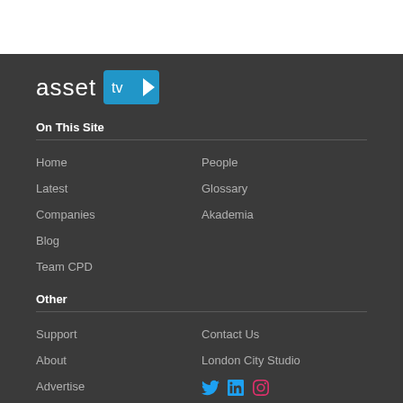[Figure (logo): Asset TV logo - text 'asset' in white with a blue play button badge containing 'tv' text]
On This Site
Home
People
Latest
Glossary
Companies
Akademia
Blog
Team CPD
Other
Support
Contact Us
About
London City Studio
Advertise
[Figure (other): Social media icons: Twitter (blue bird), LinkedIn (blue 'in'), Instagram (pink camera)]